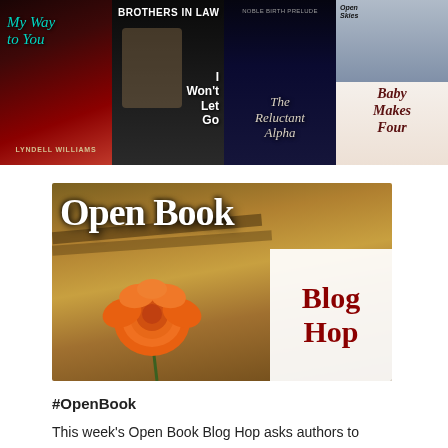[Figure (illustration): Collage of four book covers: 'My Way to You' by Lyndell Williams, 'Brothers in Law: I Won't Let Go', 'The Reluctant Alpha' (Noble Birth Prelude), and 'Baby Makes Four']
[Figure (illustration): Open Book Blog Hop banner image featuring an orange rose resting on stacked books, with 'Open Book' text overlay and a white box in the lower right containing 'Blog Hop' in dark red serif font]
#OpenBook
This week's Open Book Blog Hop asks authors to